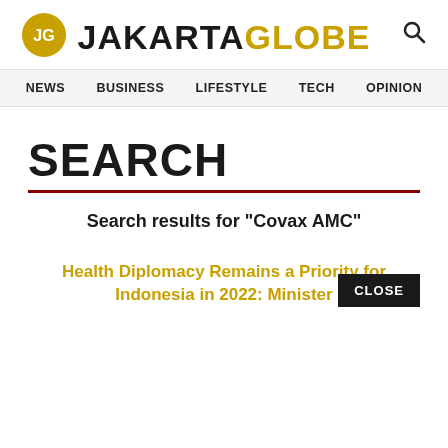[Figure (logo): Jakarta Globe logo - JG monogram in gold circle on left, JAKARTA in dark text and GLOBE in gold text as wordmark, search icon on right]
NEWS   BUSINESS   LIFESTYLE   TECH   OPINION
SEARCH
Search results for "Covax AMC"
Health Diplomacy Remains a Priority for Indonesia in 2022: Minister